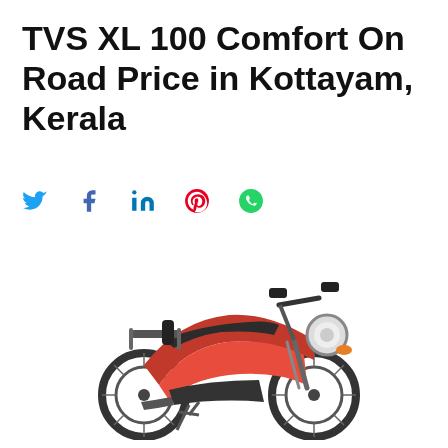TVS XL 100 Comfort On Road Price in Kottayam, Kerala
[Figure (other): Social media share icons row: Twitter (blue bird), Facebook (blue f), LinkedIn (blue in), Pinterest (red circle with P), WhatsApp (green phone circle)]
[Figure (photo): TVS XL 100 Comfort moped/moped motorcycle in red color, front-three-quarter view, shown on white background]